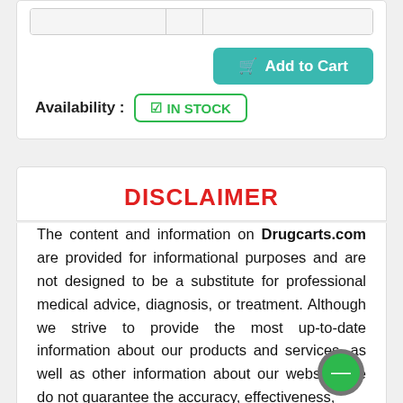[Figure (screenshot): Top section showing Add to Cart button and Availability IN STOCK badge on a white card with a partial table/bar at the top]
DISCLAIMER
The content and information on Drugcarts.com are provided for informational purposes and are not designed to be a substitute for professional medical advice, diagnosis, or treatment. Although we strive to provide the most up-to-date information about our products and services, as well as other information about our website, we do not guarantee the accuracy, effectiveness, suitability of any information on this Website...